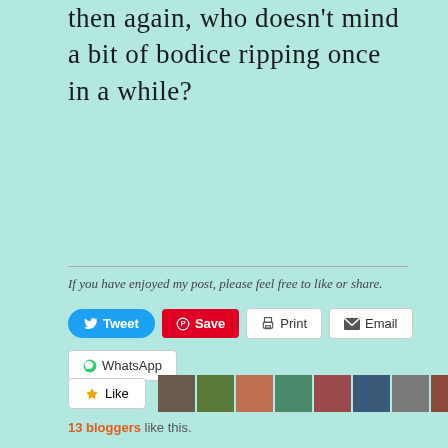then again, who doesn't mind a bit of bodice ripping once in a while?
If you have enjoyed my post, please feel free to like or share.
[Figure (screenshot): Social sharing buttons: Tweet (blue), Save (red/Pinterest), Print, Email, WhatsApp]
[Figure (screenshot): Like button with star icon and row of 10 blogger avatar thumbnails]
13 bloggers like this.